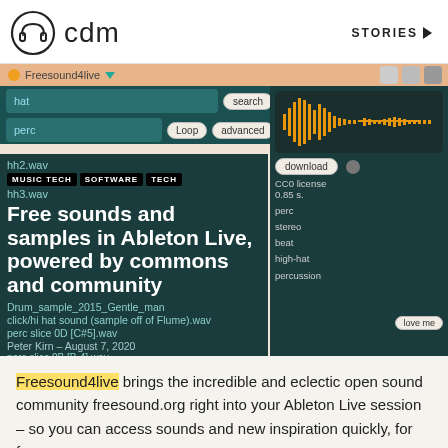cdm  STORIES
[Figure (screenshot): Screenshot of Freesound4live plugin in Ableton Live showing a file browser with search fields for 'hat' and 'perc', a list of wav files, waveform display, download button, tags (perc, stereo, beat, high-hat, percussion), with overlaid article title and social sharing buttons]
Free sounds and samples in Ableton Live, powered by commons and community
hh2.wav
MUSIC TECH
SOFTWARE
TECH
Peter Kirn – August 7, 2020
Freesound4live brings the incredible and eclectic open sound community freesound.org right into your Ableton Live session – so you can access sounds and new inspiration quickly, for free.